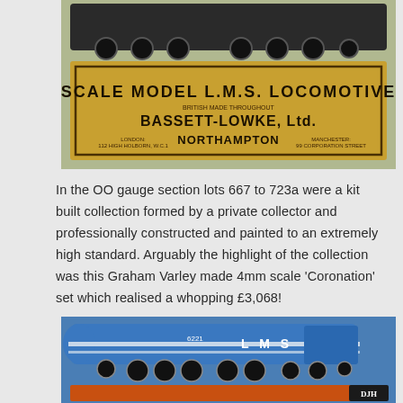[Figure (photo): Bassett-Lowke Ltd scale model LMS locomotive with original box. The box is tan/yellow with black text reading 'SCALE MODEL L.M.S. LOCOMOTIVE' and 'BASSETT-LOWKE, Ltd. NORTHAMPTON'. The locomotive is visible on top of the box.]
In the OO gauge section lots 667 to 723a were a kit built collection formed by a private collector and professionally constructed and painted to an extremely high standard. Arguably the highlight of the collection was this Graham Varley made 4mm scale 'Coronation' set which realised a whopping £3,068!
[Figure (photo): Blue LMS 'Coronation' class locomotive model (Graham Varley made 4mm scale), partially visible, on top of an orange DJH box. The locomotive is bright blue with white stripes and 'LMS' lettering.]